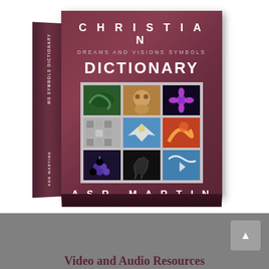[Figure (photo): 3D rendered book cover of 'Christian Dreams and Visions Symbols Dictionary' by ASR Martins. The book is shown at an angle with a dark maroon/brown cover. The front cover shows the word CHRISTIAN at top in spaced letters, subtitle 'DREAMS AND VISIONS SYMBOLS', then large text 'DICTIONARY', a grid of 9 images (3x3) showing various symbols including a snake, lion, flower, pattern, eagle, colorful image, grapes, horse, and bird, and at the bottom 'ASR MARTINS' in spaced letters. The spine shows 'MS SYMBOLS DICTIONARY' and 'ASR MARTINS' in vertical text.]
Video and Audio Resources